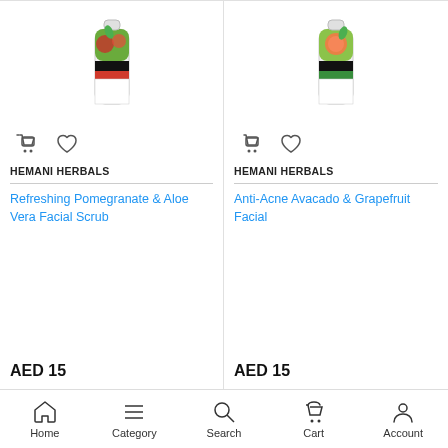[Figure (photo): Hemani Herbals Refreshing Pomegranate & Aloe Vera Facial Scrub product tube with red/green label]
HEMANI HERBALS
Refreshing Pomegranate & Aloe Vera Facial Scrub
AED 15
[Figure (photo): Hemani Herbals Anti-Acne Avacado & Grapefruit Facial product tube with pink/green label]
HEMANI HERBALS
Anti-Acne Avacado & Grapefruit Facial
AED 15
[Figure (photo): Hemani product tube with brown/white label (partially visible)]
Home  Category  Search  Cart  Account